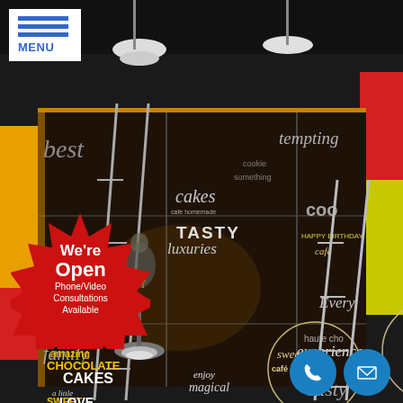[Figure (photo): Installation photo showing workers on ladders installing a large chalkboard-style mural/wall graphic in a cafe or bakery. The mural features text such as 'cakes', 'TASTY luxuries', 'SWEET cafe is good', 'CHOCOLATE CAKES', 'cookie cream', 'haute chocolate experience', 'HAPPY BIRTHDAY', 'tempting', 'cookies', 'PREMIUM QUALITY'. Overhead pendant lights illuminate the scene. Yellow and red wall panels visible on the sides.]
[Figure (logo): Menu button top left: three horizontal blue lines (hamburger icon) above the word MENU in blue text on white background.]
[Figure (infographic): Red starburst badge in the lower left reading: We're Open / Phone/Video Consultations Available]
[Figure (infographic): Two blue circle icons in the bottom right: a phone handset icon and an envelope/mail icon.]